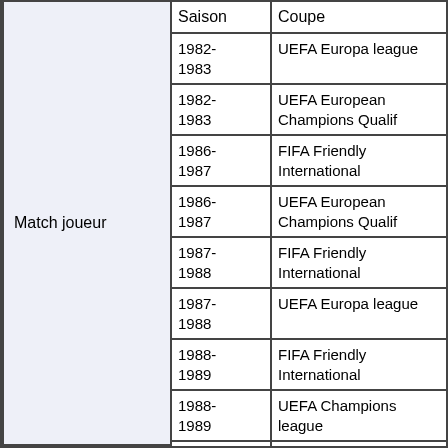|  | Saison | Coupe |
| --- | --- | --- |
| Match joueur | 1982-1983 | UEFA Europa league |
| Match joueur | 1982-1983 | UEFA European Champions Qualif |
| Match joueur | 1986-1987 | FIFA Friendly International |
| Match joueur | 1986-1987 | UEFA European Champions Qualif |
| Match joueur | 1987-1988 | FIFA Friendly International |
| Match joueur | 1987-1988 | UEFA Europa league |
| Match joueur | 1988-1989 | FIFA Friendly International |
| Match joueur | 1988-1989 | UEFA Champions league |
| Match joueur | 1988-1989 | UEFA European Champions |
| Match joueur | 1989- | UEFA Champions league |